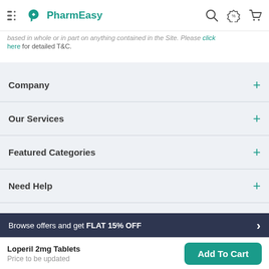PharmEasy
based in whole or in part on anything contained in the Site. Please click here for detailed T&C.
Company
Our Services
Featured Categories
Need Help
Policy Info
Browse offers and get FLAT 15% OFF
Loperil 2mg Tablets
Price to be updated
Add To Cart